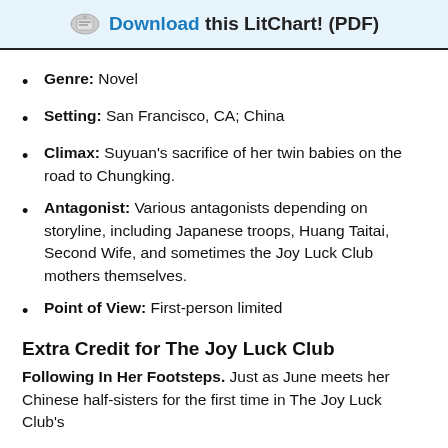Download this LitChart! (PDF)
Genre: Novel
Setting: San Francisco, CA; China
Climax: Suyuan's sacrifice of her twin babies on the road to Chungking.
Antagonist: Various antagonists depending on storyline, including Japanese troops, Huang Taitai, Second Wife, and sometimes the Joy Luck Club mothers themselves.
Point of View: First-person limited
Extra Credit for The Joy Luck Club
Following In Her Footsteps. Just as June meets her Chinese half-sisters for the first time in The Joy Luck Club's